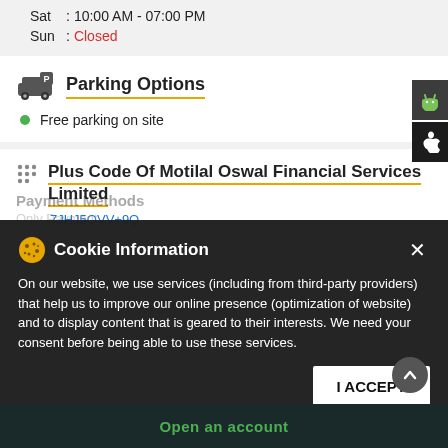Sat : 10:00 AM - 07:00 PM
Sun : Closed
Parking Options
Free parking on site
Plus Code Of Motilal Oswal Financial Services Limited
7JHJ5OVV+9Q
Cookie Information
On our website, we use services (including from third-party providers) that help us to improve our online presence (optimization of website) and to display content that is geared to their interests. We need your consent before being able to use these services.
I ACCEPT
Open an account